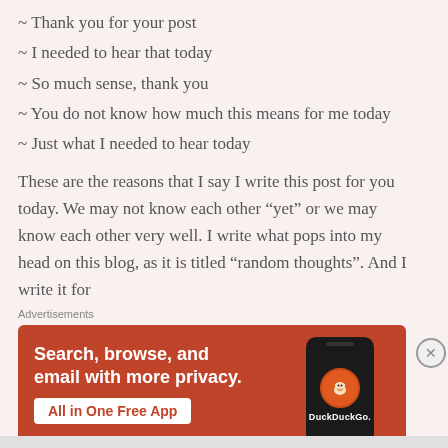~ Thank you for your post
~ I needed to hear that today
~ So much sense, thank you
~ You do not know how much this means for me today
~ Just what I needed to hear today
These are the reasons that I say I write this post for you today. We may not know each other “yet” or we may know each other very well. I write what pops into my head on this blog, as it is titled “random thoughts”. And I write it for
Advertisements
[Figure (screenshot): DuckDuckGo advertisement banner with orange/red background. Text reads: Search, browse, and email with more privacy. All in One Free App. Shows a phone with DuckDuckGo logo.]